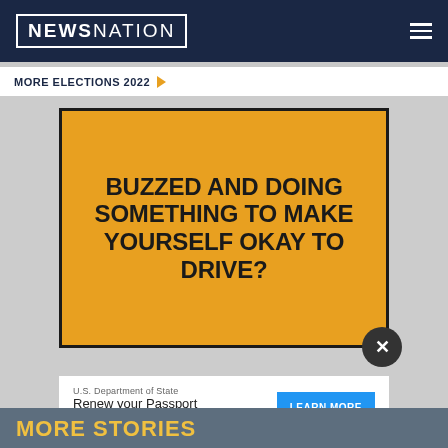NEWSNATION
MORE ELECTIONS 2022
[Figure (illustration): Yellow advertisement image with bold black uppercase text reading: BUZZED AND DOING SOMETHING TO MAKE YOURSELF OKAY TO DRIVE? with a close (X) button overlay in dark circle]
[Figure (infographic): Advertisement banner: U.S. Department of State - Renew your Passport - LEARN MORE button in blue]
MORE STORIES